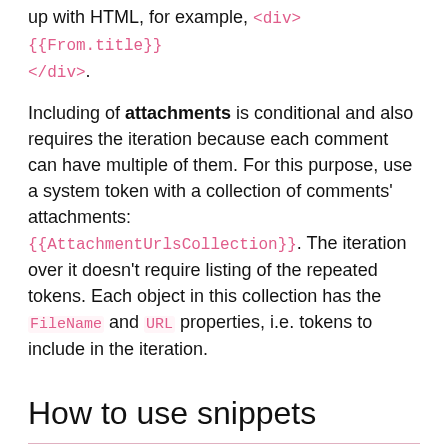up with HTML, for example, <div>{{From.title}}</div>.
Including of attachments is conditional and also requires the iteration because each comment can have multiple of them. For this purpose, use a system token with a collection of comments' attachments: {{AttachmentUrlsCollection}}. The iteration over it doesn't require listing of the repeated tokens. Each object in this collection has the FileName and URL properties, i.e. tokens to include in the iteration.
How to use snippets
The snippet is a small predefined part of a template in the Send email action that allows inserting blocks of information in the resulting message. Currently, it is not allowed to customize or to create snippets. All of them are in the hint to a template: